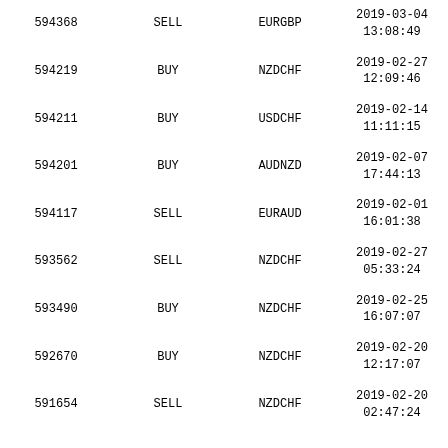| ID | Type | Pair | DateTime |
| --- | --- | --- | --- |
| 594368 | SELL | EURGBP | 2019-03-04
13:08:49 |
| 594219 | BUY | NZDCHF | 2019-02-27
12:09:46 |
| 594211 | BUY | USDCHF | 2019-02-14
11:11:15 |
| 594201 | BUY | AUDNZD | 2019-02-07
17:44:13 |
| 594117 | SELL | EURAUD | 2019-02-01
16:01:38 |
| 593562 | SELL | NZDCHF | 2019-02-27
05:33:24 |
| 593490 | BUY | NZDCHF | 2019-02-25
16:07:07 |
| 592670 | BUY | NZDCHF | 2019-02-20
12:17:07 |
| 591654 | SELL | NZDCHF | 2019-02-20
02:47:24 |